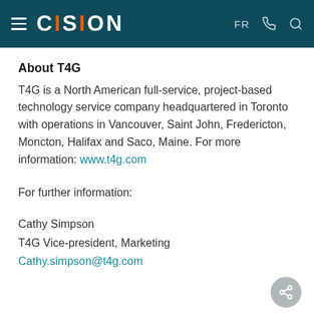CISION — FR
About T4G
T4G is a North American full-service, project-based technology service company headquartered in Toronto with operations in Vancouver, Saint John, Fredericton, Moncton, Halifax and Saco, Maine. For more information: www.t4g.com
For further information:
Cathy Simpson
T4G Vice-president, Marketing
Cathy.simpson@t4g.com